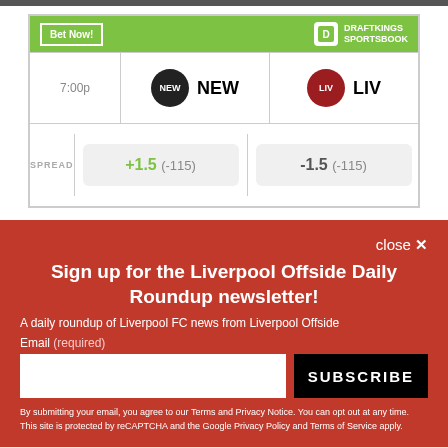[Figure (screenshot): DraftKings Sportsbook betting widget showing NEW vs LIV matchup at 7:00p with spread of +1.5 (-115) for NEW and -1.5 (-115) for LIV]
close ✕
Sign up for the Liverpool Offside Daily Roundup newsletter!
A daily roundup of Liverpool FC news from Liverpool Offside
Email (required)
SUBSCRIBE
By submitting your email, you agree to our Terms and Privacy Notice. You can opt out at any time. This site is protected by reCAPTCHA and the Google Privacy Policy and Terms of Service apply.